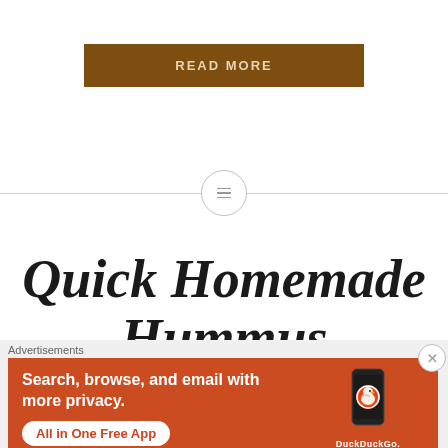READ MORE
[Figure (other): Horizontal divider line with a circle icon in the center containing three horizontal lines (hamburger/menu icon)]
Quick Homemade Hummus
Advertisements
[Figure (screenshot): DuckDuckGo advertisement banner with orange background. Text: 'Search, browse, and email with more privacy. All in One Free App'. Shows a smartphone with DuckDuckGo logo and branding.]